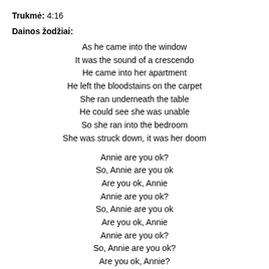Trukmė: 4:16
Dainos žodžiai:
As he came into the window
It was the sound of a crescendo
He came into her apartment
He left the bloodstains on the carpet
She ran underneath the table
He could see she was unable
So she ran into the bedroom
She was struck down, it was her doom

Annie are you ok?
So, Annie are you ok
Are you ok, Annie
Annie are you ok?
So, Annie are you ok
Are you ok, Annie
Annie are you ok?
So, Annie are you ok?
Are you ok, Annie?
Annie are you ok?
So, Annie are you ok, are you ok, Annie?